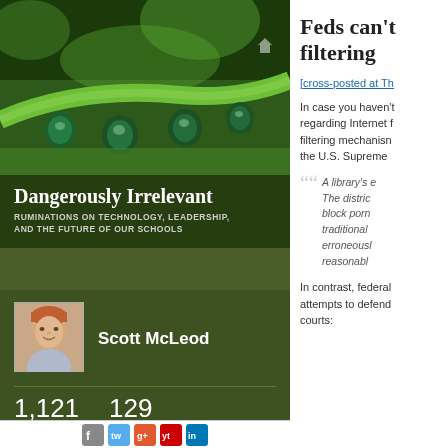[Figure (photo): Close-up macro photo of water droplets on a green plant stem/leaf]
Dangerously Irrelevant
RUMINATIONS ON TECHNOLOGY, LEADERSHIP, AND THE FUTURE OF OUR SCHOOLS
[Figure (photo): Profile photo of Scott McLeod]
Scott McLeod
1,121 FOLLOWING
129 FOLLOWERS
Feds can't filtering
[cross-posted at Th
In case you haven't regarding Internet f filtering mechanisn the U.S. Supreme
A library's e The distric block porn traditional erroneousl reasonabl
In contrast, federal attempts to defend courts: